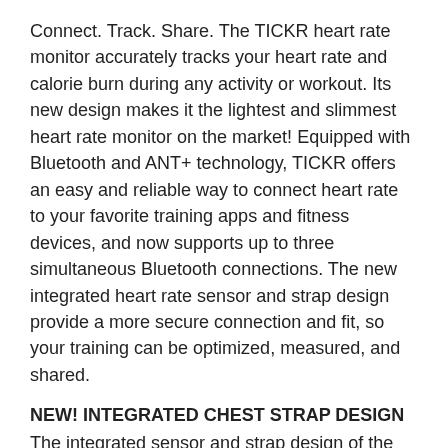Connect. Track. Share. The TICKR heart rate monitor accurately tracks your heart rate and calorie burn during any activity or workout. Its new design makes it the lightest and slimmest heart rate monitor on the market! Equipped with Bluetooth and ANT+ technology, TICKR offers an easy and reliable way to connect heart rate to your favorite training apps and fitness devices, and now supports up to three simultaneous Bluetooth connections. The new integrated heart rate sensor and strap design provide a more secure connection and fit, so your training can be optimized, measured, and shared.
NEW! INTEGRATED CHEST STRAP DESIGN
The integrated sensor and strap design of the TICKR provides a more secure connection and a more secure fit to prevent sliding and shifting while working out.
NEW! SLIM, LIGHTWEIGHT HEART RATE SENSOR POD
At 1.7oz (48g) and 12.01mm thick, the TICKR is the